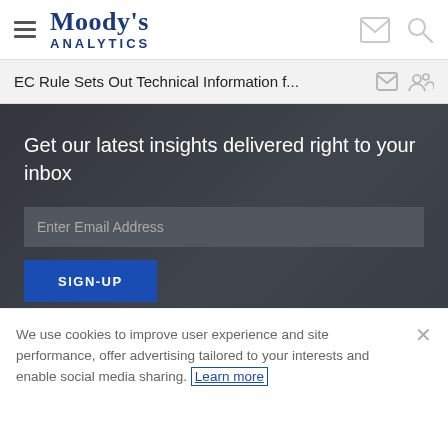Moody's Analytics — navigation header with hamburger menu, envelope icon, and search icon
EC Rule Sets Out Technical Information f...
[Figure (screenshot): Dark background panel with email sign-up form: headline 'Get our latest insights delivered right to your inbox', email input field with placeholder 'Enter Email Address', and a blue SIGN-UP button]
We use cookies to improve user experience and site performance, offer advertising tailored to your interests and enable social media sharing. Learn more